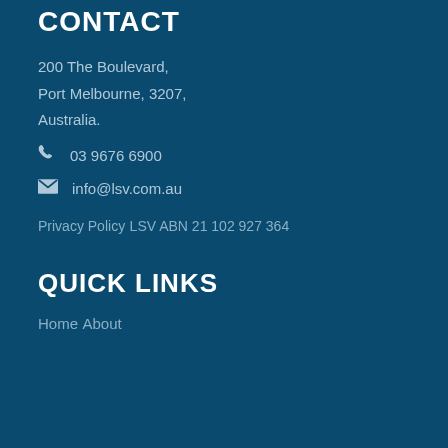CONTACT
200 The Boulevard,
Port Melbourne, 3207,
Australia.
03 9676 6900
info@lsv.com.au
Privacy Policy
LSV ABN 21 102 927 364
QUICK LINKS
Home
About